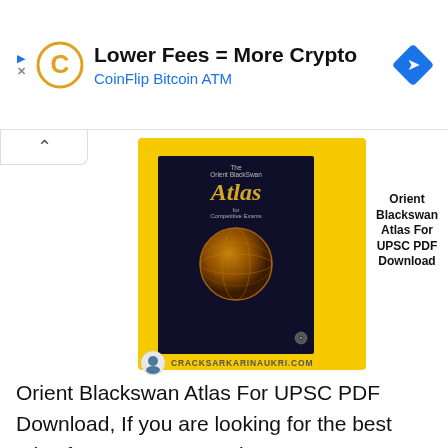[Figure (screenshot): Advertisement banner for CoinFlip Bitcoin ATM with text 'Lower Fees = More Crypto' and 'CoinFlip Bitcoin ATM', featuring CoinFlip logo and a blue diamond navigation icon]
[Figure (photo): Book cover of 'Orient Blackswan Atlas for Competitive Exams' shown on a yellow background card, with site watermark 'cracksarkarinaukri.com'. The book cover shows 'Atlas' in large italic gold text on dark background with a globe image.]
Orient Blackswan Atlas For UPSC PDF Download
Orient Blackswan Atlas For UPSC PDF Download, If you are looking for the best atlas for UPSC preparation, …